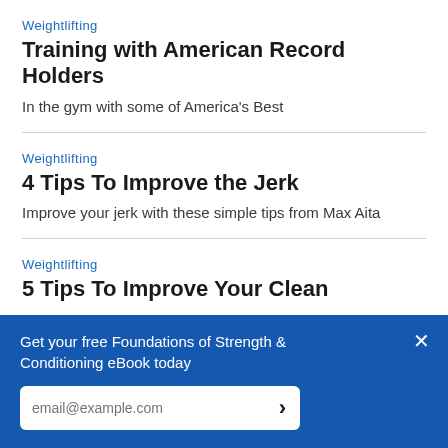Weightlifting
Training with American Record Holders
In the gym with some of America's Best
Weightlifting
4 Tips To Improve the Jerk
Improve your jerk with these simple tips from Max Aita
Weightlifting
5 Tips To Improve Your Clean
Get your free Foundations of Strength & Conditioning eBook today